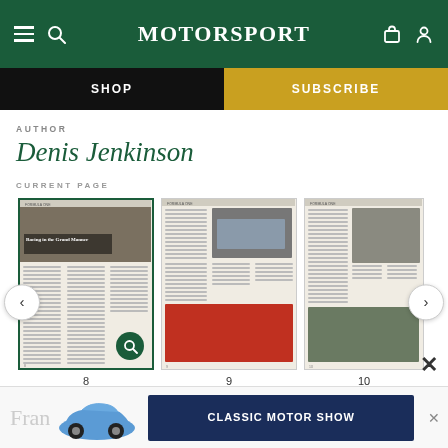MotorSport
SHOP | SUBSCRIBE
AUTHOR
Denis Jenkinson
CURRENT PAGE
[Figure (screenshot): Three magazine article thumbnail previews in a carousel. Left (page 8): 'Racing in the Grand Manner' article with racetrack photo. Center (page 9): F1 article with McLaren and Ferrari car photos. Right (page 10): Formula One article with racing car photos. Navigation arrows on left and right sides.]
[Figure (photo): Advertisement banner at bottom: partial text 'Fran', blue Porsche 911 car image, dark blue sign reading 'CLASSIC MOTOR SHOW', and X close button.]